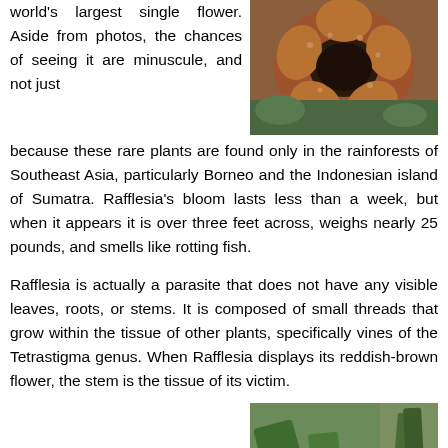world's largest single flower. Aside from photos, the chances of seeing it are minuscule, and not just because these rare plants are found only in the rainforests of Southeast Asia, particularly Borneo and the Indonesian island of Sumatra. Rafflesia's bloom lasts less than a week, but when it appears it is over three feet across, weighs nearly 25 pounds, and smells like rotting fish.
[Figure (photo): Photo of a large reddish-brown Rafflesia flower on the forest floor]
Rafflesia is actually a parasite that does not have any visible leaves, roots, or stems. It is composed of small threads that grow within the tissue of other plants, specifically vines of the Tetrastigma genus. When Rafflesia displays its reddish-brown flower, the stem is the tissue of its victim.
3. Welwitschia
[Figure (photo): Photo of a Welwitschia plant with large strap-like leaves]